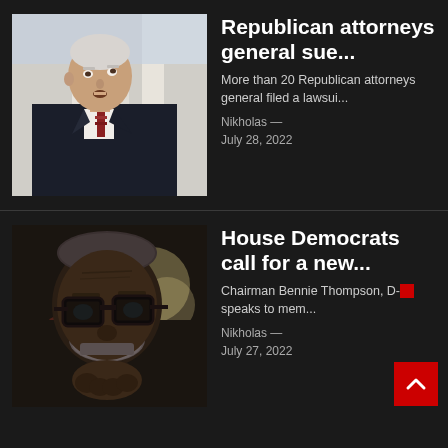[Figure (photo): Older white man in dark suit with red striped tie, standing in front of classical stone columns, looking upward]
Republican attorneys general sue...
More than 20 Republican attorneys general filed a lawsui...
Nikholas — July 28, 2022
[Figure (photo): Older Black man with white beard wearing glasses, close-up portrait in dim light]
House Democrats call for a new...
Chairman Bennie Thompson, D-[ speaks to mem...
Nikholas — July 27, 2022